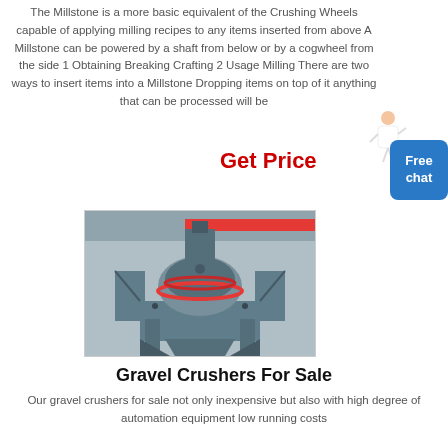The Millstone is a more basic equivalent of the Crushing Wheels capable of applying milling recipes to any items inserted from above A Millstone can be powered by a shaft from below or by a cogwheel from the side 1 Obtaining Breaking Crafting 2 Usage Milling There are two ways to insert items into a Millstone Dropping items on top of it anything that can be processed will be
Get Price
Free chat
[Figure (photo): Industrial gravel crusher machine in a factory setting, large grey metal machine with circular grinding components, red structural beams visible in background]
Gravel Crushers For Sale
Our gravel crushers for sale not only inexpensive but also with high degree of automation equipment low running costs